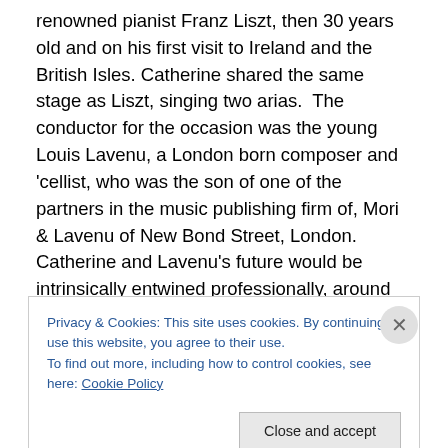renowned pianist Franz Liszt, then 30 years old and on his first visit to Ireland and the British Isles. Catherine shared the same stage as Liszt, singing two arias. The conductor for the occasion was the young Louis Lavenu, a London born composer and 'cellist, who was the son of one of the partners in the music publishing firm of, Mori & Lavenu of New Bond Street, London. Catherine and Lavenu's future would be intrinsically entwined professionally, around the world.
One of the pieces played by Liszt that eventful night was
Privacy & Cookies: This site uses cookies. By continuing to use this website, you agree to their use.
To find out more, including how to control cookies, see here: Cookie Policy
Close and accept